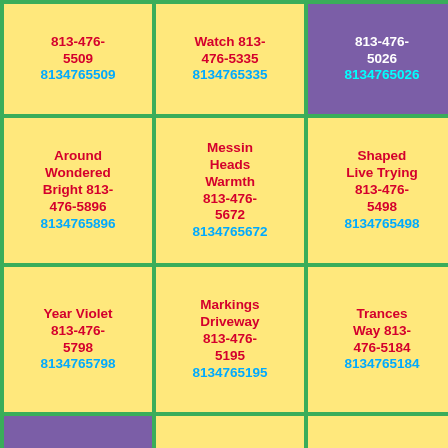813-476-5509 8134765509
Watch 813-476-5335 8134765335
813-476-5026 8134765026
Around Wondered Bright 813-476-5896 8134765896
Messin Heads Warmth 813-476-5672 8134765672
Shaped Live Trying 813-476-5498 8134765498
Year Violet 813-476-5798 8134765798
Markings Driveway 813-476-5195 8134765195
Trances Way 813-476-5184 8134765184
Ages Much 813-476-5035 8134765035
Noticing Jus 813-476-5465 8134765465
Streets 813-476-5915 8134765915